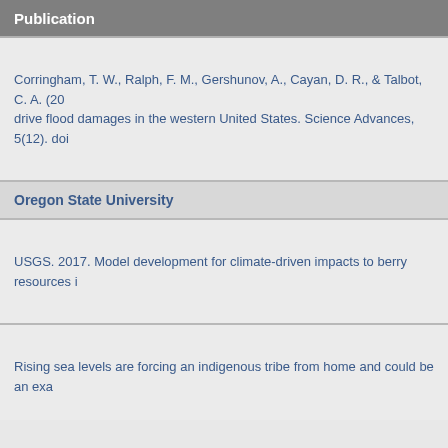Publication
Corringham, T. W., Ralph, F. M., Gershunov, A., Cayan, D. R., & Talbot, C. A. (20... drive flood damages in the western United States. Science Advances, 5(12). doi...
Oregon State University
USGS. 2017. Model development for climate-driven impacts to berry resources i...
Rising sea levels are forcing an indigenous tribe from home and could be an exa...